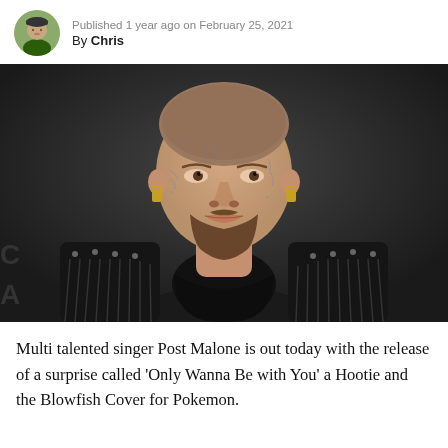Published 1 year ago on February 25, 2021
By Chris
[Figure (photo): Photo of Post Malone, a man with face tattoos and a shaved head, wearing a black leather fringe jacket, photographed against a dark background.]
Multi talented singer Post Malone is out today with the release of a surprise called ‘Only Wanna Be with You’ a Hootie and the Blowfish Cover for Pokemon.